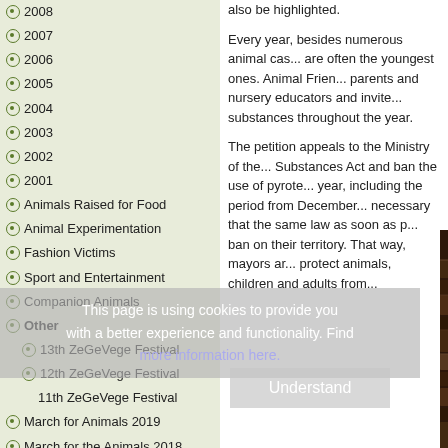2008
2007
2006
2005
2004
2003
2002
2001
Animals Raised for Food
Animal Experimentation
Fashion Victims
Sport and Entertainment
Companion Animals
Other
13th ZeGeVege Festival
12th ZeGeVege Festival
11th ZeGeVege Festival
March for Animals 2019
March for the Animals 2018
Campaign "I Love Animals"
Animals: A Parallel History
Ayurvedic Vegan Delicacies
also be highlighted.
Every year, besides numerous animal cas... are often the youngest ones. Animal Frien... parents and nursery educators and invite... substances throughout the year.
The petition appeals to the Ministry of the... Substances Act and ban the use of pyrote... year, including the period from December... necessary that the same law as soon as p... ban on their territory. That way, mayors ar... protect animals, children and adults from...
[Figure (photo): Stack of books/documents photographed from above, dark brown tones]
This page is using cookies to provide you with a better experience and functionality. Find more information here.
Understand